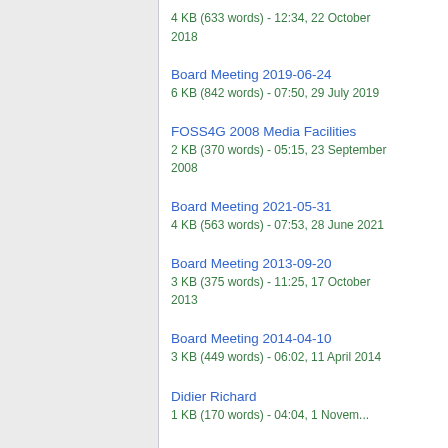4 KB (633 words) - 12:34, 22 October 2018
Board Meeting 2019-06-24
6 KB (842 words) - 07:50, 29 July 2019
FOSS4G 2008 Media Facilities
2 KB (370 words) - 05:15, 23 September 2008
Board Meeting 2021-05-31
4 KB (563 words) - 07:53, 28 June 2021
Board Meeting 2013-09-20
3 KB (375 words) - 11:25, 17 October 2013
Board Meeting 2014-04-10
3 KB (449 words) - 06:02, 11 April 2014
Didier Richard
1 KB (170 words) - 04:04, 1 November ...